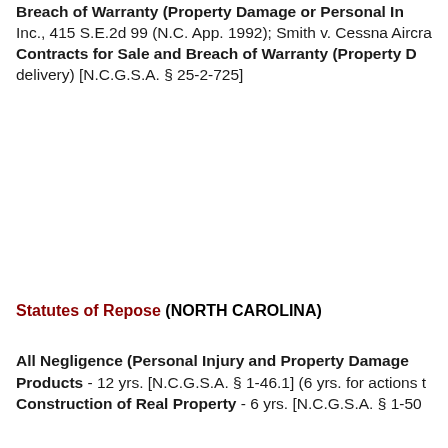Breach of Warranty (Property Damage or Personal Injury): Inc., 415 S.E.2d 99 (N.C. App. 1992); Smith v. Cessna Aircra Contracts for Sale and Breach of Warranty (Property D delivery) [N.C.G.S.A. § 25-2-725]
Statutes of Repose (NORTH CAROLINA)
All Negligence (Personal Injury and Property Damage Products - 12 yrs. [N.C.G.S.A. § 1-46.1] (6 yrs. for actions Construction of Real Property - 6 yrs. [N.C.G.S.A. § 1-50